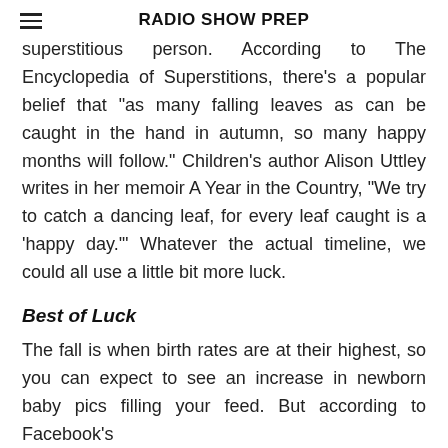RADIO SHOW PREP
superstitious person. According to The Encyclopedia of Superstitions, there's a popular belief that "as many falling leaves as can be caught in the hand in autumn, so many happy months will follow." Children's author Alison Uttley writes in her memoir A Year in the Country, "We try to catch a dancing leaf, for every leaf caught is a 'happy day.'" Whatever the actual timeline, we could all use a little bit more luck.
Best of Luck
The fall is when birth rates are at their highest, so you can expect to see an increase in newborn baby pics filling your feed. But according to Facebook's